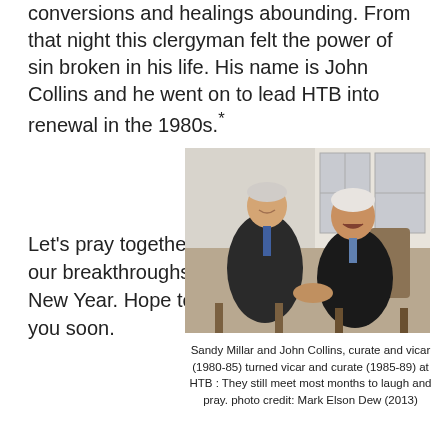conversions and healings abounding. From that night this clergyman felt the power of sin broken in his life. His name is John Collins and he went on to lead HTB into renewal in the 1980s.*
Let's pray together for our breakthroughs this New Year. Hope to see you soon.
[Figure (photo): Two elderly men in dark suits sitting together, shaking hands and laughing. The man on the left has grey hair, and the man on the right also has white/grey hair. They appear to be in a bright room with windows.]
Sandy Millar and John Collins, curate and vicar (1980-85) turned vicar and curate (1985-89) at HTB : They still meet most months to laugh and pray. photo credit: Mark Elson Dew (2013)